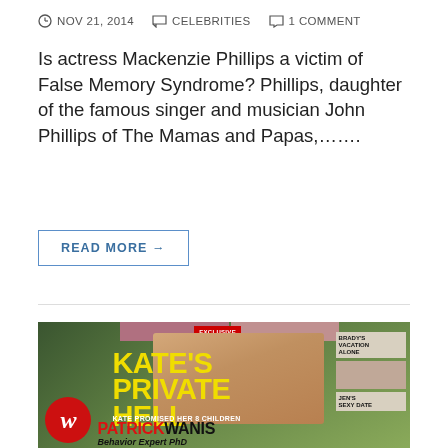NOV 21, 2014  CELEBRITIES  1 COMMENT
Is actress Mackenzie Phillips a victim of False Memory Syndrome? Phillips, daughter of the famous singer and musician John Phillips of The Mamas and Papas,…….
READ MORE →
[Figure (photo): Magazine cover showing a woman with text 'KATE'S PRIVATE HELL', 'KATE PROMISED HER 8 CHILDREN', 'PATRICK WANIS Behavior Expert PhD', with red circle logo, and sidebar items 'BRADY'S VACATION ALONE' and 'JEN'S SEXY DATE'. Yellow bold headline text on green/olive background.]